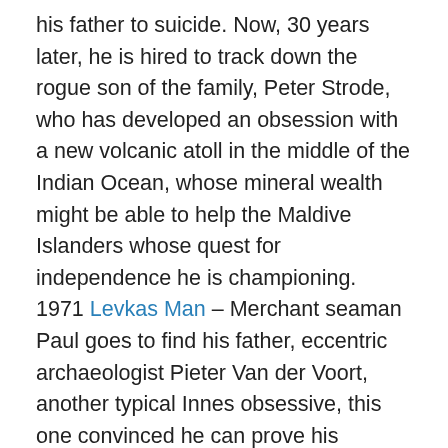his father to suicide. Now, 30 years later, he is hired to track down the rogue son of the family, Peter Strode, who has developed an obsession with a new volcanic atoll in the middle of the Indian Ocean, whose mineral wealth might be able to help the Maldive Islanders whose quest for independence he is championing.
1971 Levkas Man – Merchant seaman Paul goes to find his father, eccentric archaeologist Pieter Van der Voort, another typical Innes obsessive, this one convinced he can prove his eccentric and garbled theories about the origin of Man, changing Ice Age sea levels, the destruction of Atlantis and so on. Much sailing around the Aegean, feelingly described by Innes, before the climax in a vast subterranean cavern covered in prehistoric rock paintings, in an atmosphere heavy with timeless evil, where his father admits to being a murderer.